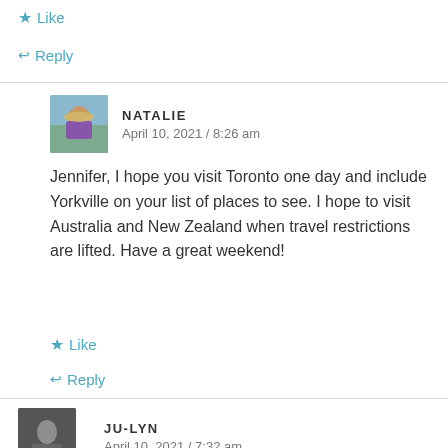★ Like
↩ Reply
NATALIE
April 10, 2021 / 8:26 am
Jennifer, I hope you visit Toronto one day and include Yorkville on your list of places to see. I hope to visit Australia and New Zealand when travel restrictions are lifted. Have a great weekend!
★ Like
↩ Reply
JU-LYN
April 10, 2021 / 7:32 am